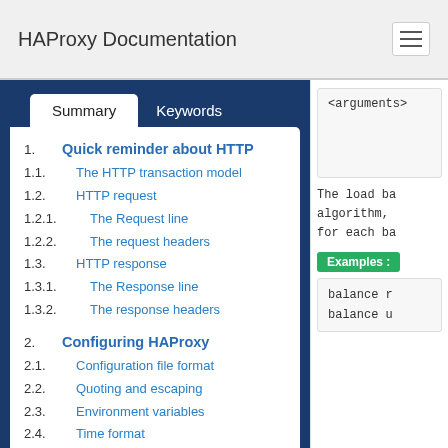HAProxy Documentation
Summary | Keywords
1. Quick reminder about HTTP
1.1. The HTTP transaction model
1.2. HTTP request
1.2.1. The Request line
1.2.2. The request headers
1.3. HTTP response
1.3.1. The Response line
1.3.2. The response headers
2. Configuring HAProxy
2.1. Configuration file format
2.2. Quoting and escaping
2.3. Environment variables
2.4. Time format
2.5. Examples
3. Global parameters
<arguments>
The load ba algorithm, for each ba
Examples :
balance r balance u